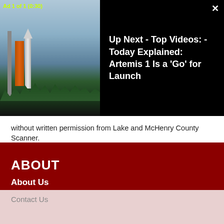[Figure (screenshot): Video player overlay showing rocket launch thumbnail on left with 'Ad 1 of 1 (0:30)' label in yellow-green, and 'Up Next - Top Videos: - Today Explained: Artemis 1 Is a Go for Launch' text on black background right side, with X close button top right]
without written permission from Lake and McHenry County Scanner.
ABOUT
About Us
Staff Directory
Advertise
Submit an Obituary
Submit a News Tip
Contact Us